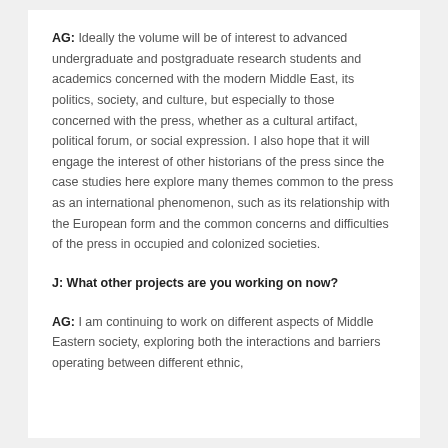AG: Ideally the volume will be of interest to advanced undergraduate and postgraduate research students and academics concerned with the modern Middle East, its politics, society, and culture, but especially to those concerned with the press, whether as a cultural artifact, political forum, or social expression. I also hope that it will engage the interest of other historians of the press since the case studies here explore many themes common to the press as an international phenomenon, such as its relationship with the European form and the common concerns and difficulties of the press in occupied and colonized societies.
J: What other projects are you working on now?
AG: I am continuing to work on different aspects of Middle Eastern society, exploring both the interactions and barriers operating between different ethnic,